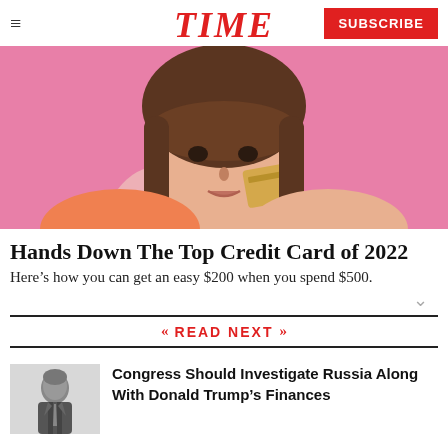TIME | SUBSCRIBE
[Figure (photo): Young woman with brown hair holding a gold/tan credit card against her cheek, set against a pink background]
Hands Down The Top Credit Card of 2022
Here’s how you can get an easy $200 when you spend $500.
READ NEXT
[Figure (photo): Small thumbnail photo of a man in a suit, likely Vladimir Putin]
Congress Should Investigate Russia Along With Donald Trump’s Finances